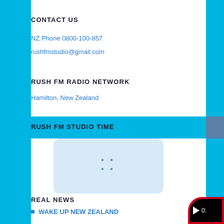CONTACT US
NZ Phone 0800-100-857
rushfmstudio@gmail.com
RUSH FM RADIO NETWORK
Hamilton, New Zealand
RUSH FM STUDIO TIME
[Figure (other): Light blue rounded rectangle calendar/schedule widget with grid of four small dots]
REAL NEWS
WAKE UP NEW ZEALAND